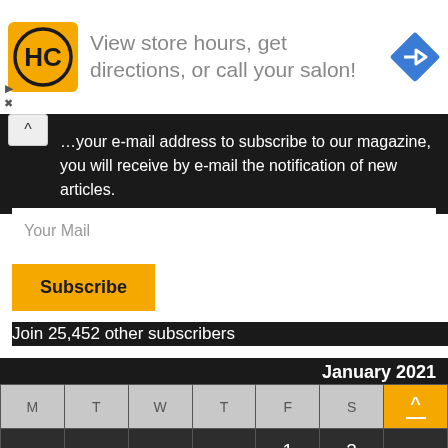[Figure (logo): HC logo yellow square with black HC letters]
View store hours, get directions, or call your salon!
…your e-mail address to subscribe to our magazine, you will receive by e-mail the notification of new articles.
Your Mail
Subscribe
Join 25,452 other subscribers
January 2021
| M | T | W | T | F | S | S |
| --- | --- | --- | --- | --- | --- | --- |
|  |  |  |  | 1 | 2 |  |
| 4 | 5 | 6 | 7 | 8 | 9 | 10 |